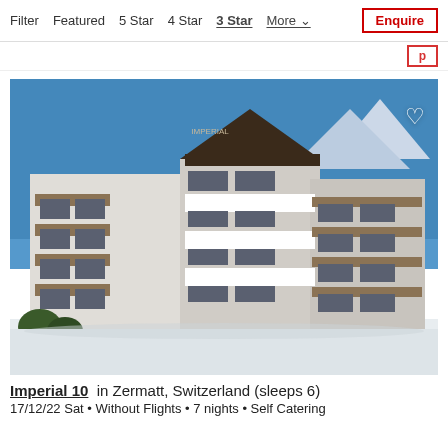Filter  Featured  5 Star  4 Star  3 Star  More  Enquire
[Figure (photo): Exterior photo of Imperial 10 apartment building in Zermatt, Switzerland. Multi-storey Alpine-style building with wooden balconies, white render, and snow on the ground. Blue sky background.]
Imperial 10  in Zermatt, Switzerland (sleeps 6)
17/12/22 Sat • Without Flights • 7 nights • Self Catering